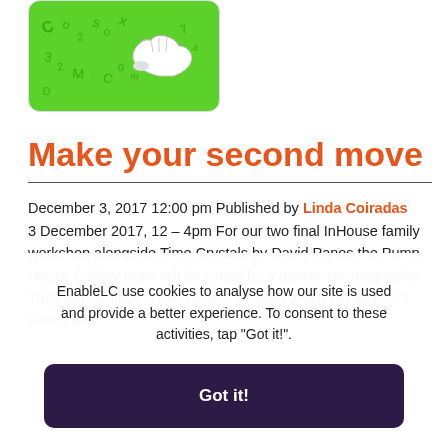[Figure (illustration): Green card with white sneaker/shoe illustration and scattered letters/numbers on a green background]
Make your second move
December 3, 2017 12:00 pm Published by Linda Coiradas
3 December 2017, 12 – 4pm For our two final InHouse family workshop alongside Time Crystals by David Panos the Pump House Gallery team will be joined by a dancer/choreographer. They will facilitate a free drop-in session which will focus on dance and
EnableLC use cookies to analyse how our site is used and provide a better experience. To consent to these activities, tap "Got it!".
Got it!